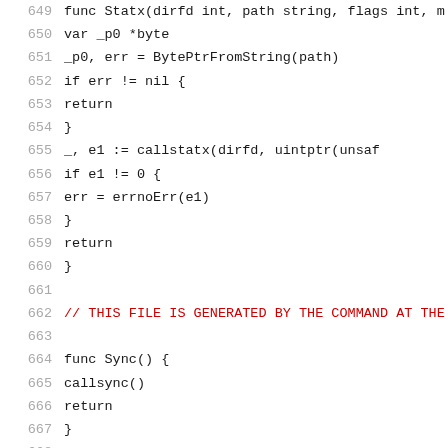649  func Statx(dirfd int, path string, flags int, m
650       var _p0 *byte
651       _p0, err = BytePtrFromString(path)
652       if err != nil {
653             return
654       }
655       _, e1 := callstatx(dirfd, uintptr(unsaf
656       if e1 != 0 {
657             err = errnoErr(e1)
658       }
659       return
660  }
661
662  // THIS FILE IS GENERATED BY THE COMMAND AT THE
663
664  func Sync() {
665       callsync()
666       return
667  }
668
669  // THIS FILE IS GENERATED BY THE COMMAND AT THE